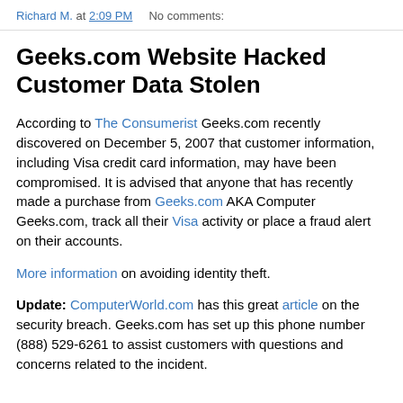Richard M. at 2:09 PM    No comments:
Geeks.com Website Hacked Customer Data Stolen
According to The Consumerist Geeks.com recently discovered on December 5, 2007 that customer information, including Visa credit card information, may have been compromised. It is advised that anyone that has recently made a purchase from Geeks.com AKA Computer Geeks.com, track all their Visa activity or place a fraud alert on their accounts.
More information on avoiding identity theft.
Update: ComputerWorld.com has this great article on the security breach. Geeks.com has set up this phone number (888) 529-6261 to assist customers with questions and concerns related to the incident.